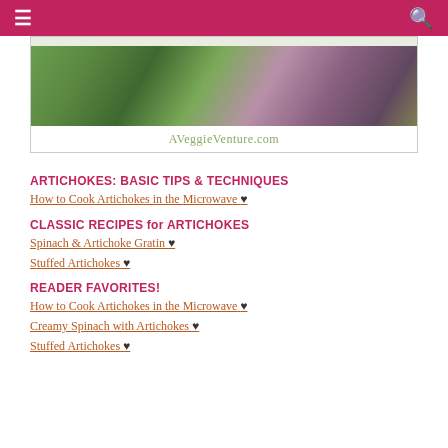≡  [navigation bar]  🔍
[Figure (photo): Photo of artichokes with AVeggieVenture.com text below]
ARTICHOKES: BASIC TIPS & TECHNIQUES
How to Cook Artichokes in the Microwave ♥
CLASSIC RECIPES for ARTICHOKES
Spinach & Artichoke Gratin ♥
Stuffed Artichokes ♥
READER FAVORITES!
How to Cook Artichokes in the Microwave ♥
Creamy Spinach with Artichokes ♥
Stuffed Artichokes ♥